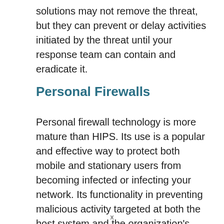solutions may not remove the threat, but they can prevent or delay activities initiated by the threat until your response team can contain and eradicate it.
Personal Firewalls
Personal firewall technology is more mature than HIPS. Its use is a popular and effective way to protect both mobile and stationary users from becoming infected or infecting your network. Its functionality in preventing malicious activity targeted at both the host system and the organization's network
x